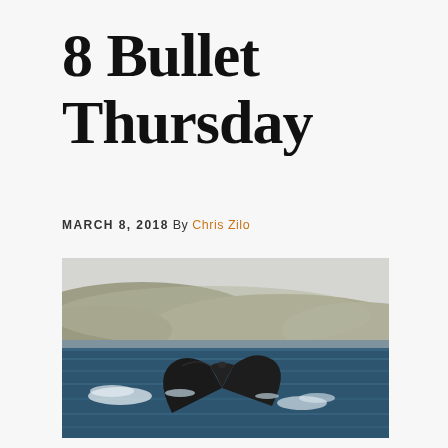8 Bullet Thursday
MARCH 8, 2018 By Chris Zilo
[Figure (photo): A whale tail (fluke) breaking the surface of dark blue ocean water, with hilly brown terrain visible in the background under a hazy sky.]